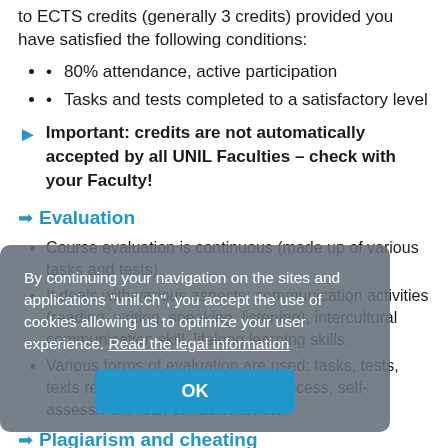to ECTS credits (generally 3 credits) provided you have satisfied the following conditions:
80% attendance, active participation
Tasks and tests completed to a satisfactory level
Important: credits are not automatically accepted by all UNIL Faculties – check with your Faculty!
Evaluation
Course evaluation is continuous (made up of various tasks and tests).
It deals with various aspects: communication activities (reading, writing, speaking, listening), intercultural communication skill, lifelong learning skills.
Various forms of evaluation are used: tasks, tests, texts reflecting on your learning process, self-assessment lists, simulations, etc.
Plagiarism and cheating
In case of plagiarism and other forms of cheating, the Centre
By continuing your navigation on the sites and applications "unil.ch", you accept the use of cookies allowing us to optimize your user experience. Read the legal information